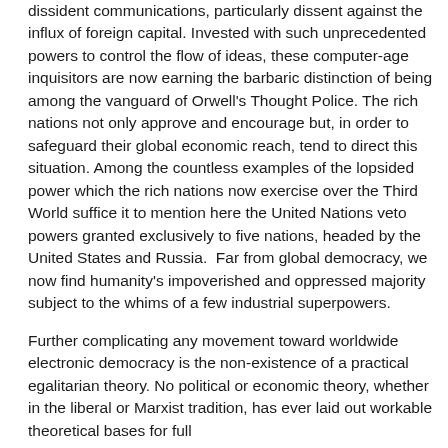dissident communications, particularly dissent against the influx of foreign capital. Invested with such unprecedented powers to control the flow of ideas, these computer-age inquisitors are now earning the barbaric distinction of being among the vanguard of Orwell's Thought Police. The rich nations not only approve and encourage but, in order to safeguard their global economic reach, tend to direct this situation. Among the countless examples of the lopsided power which the rich nations now exercise over the Third World suffice it to mention here the United Nations veto powers granted exclusively to five nations, headed by the United States and Russia.  Far from global democracy, we now find humanity's impoverished and oppressed majority subject to the whims of a few industrial superpowers.
Further complicating any movement toward worldwide electronic democracy is the non-existence of a practical egalitarian theory. No political or economic theory, whether in the liberal or Marxist tradition, has ever laid out workable theoretical bases for full